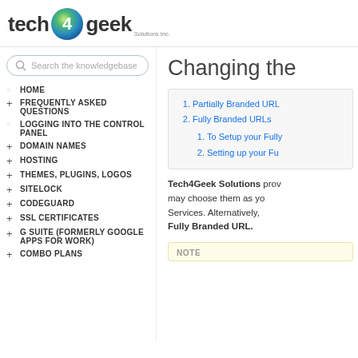[Figure (logo): Tech4Geek Solutions Inc. logo with circular icon in blue and green gradient]
Search the knowledgebase
HOME
FREQUENTLY ASKED QUESTIONS
LOGGING INTO THE CONTROL PANEL
DOMAIN NAMES
HOSTING
THEMES, PLUGINS, LOGOS
SITELOCK
CODEGUARD
SSL CERTIFICATES
G SUITE (FORMERLY GOOGLE APPS FOR WORK)
COMBO PLANS
Changing the
1. Partially Branded URLs
2. Fully Branded URLs
  1. To Setup your Fully
  2. Setting up your Fu
Tech4Geek Solutions provides may choose them as your Services. Alternatively, Fully Branded URL.
NOTE